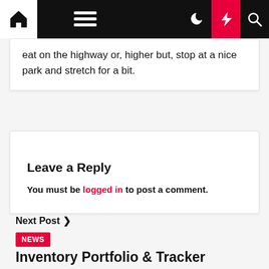Navigation bar with home, menu, dark mode, lightning, and search icons
eat on the highway or, higher but, stop at a nice park and stretch for a bit.
Leave a Reply
You must be logged in to post a comment.
Next Post >
NEWS
Inventory Portfolio & Tracker